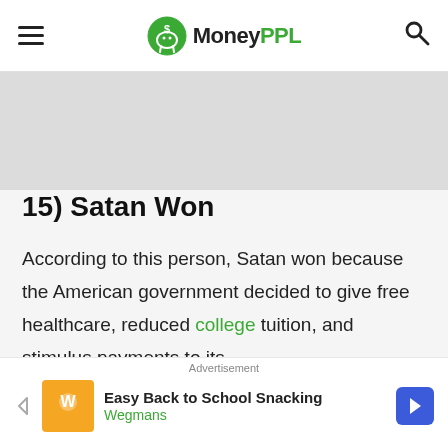MoneyPPL
[Figure (other): Gray advertisement banner placeholder area]
15) Satan Won
According to this person, Satan won because the American government decided to give free healthcare, reduced college tuition, and stimulus payments to its
[Figure (other): Advertisement banner: Easy Back to School Snacking - Wegmans]
Advertisement